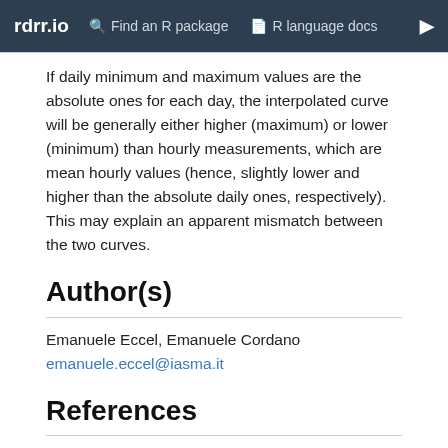rdrr.io   Find an R package   R language docs
If daily minimum and maximum values are the absolute ones for each day, the interpolated curve will be generally either higher (maximum) or lower (minimum) than hourly measurements, which are mean hourly values (hence, slightly lower and higher than the absolute daily ones, respectively). This may explain an apparent mismatch between the two curves.
Author(s)
Emanuele Eccel, Emanuele Cordano emanuele.eccel@iasma.it
References
Eccel, E., 2010: What we can ask to hourly temperature recording. Part II: hourly interpolation of temperatures for climatology and modelling. Italian Journal of Agrometeorology